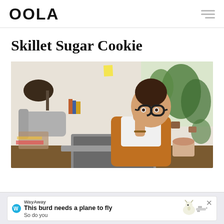OOLA
Skillet Sugar Cookie
[Figure (photo): Woman with glasses wearing brown overalls and a white t-shirt, sitting at a desk with a laptop, resting her head on one hand, surrounded by plants and desk items including a wicker basket and a coffee cup.]
This burd needs a plane to fly
So do you